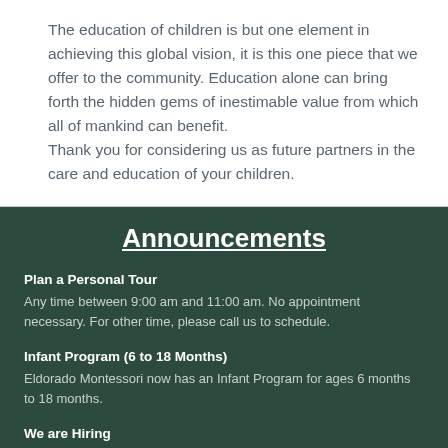The education of children is but one element in achieving this global vision, it is this one piece that we offer to the community. Education alone can bring forth the hidden gems of inestimable value from which all of mankind can benefit.
Thank you for considering us as future partners in the care and education of your children.
Announcements
Plan a Personal Tour
Any time between 9:00 am and 11:00 am. No appointment necessary. For other time, please call us to schedule.
Infant Program (6 to 18 Months)
Eldorado Montessori now has an Infant Program for ages 6 months to 18 months.
We are Hiring
We are looking for qualified AMS/AMI/MACTE certified Montessori Teachers for Primary (3 to 6 yrs)